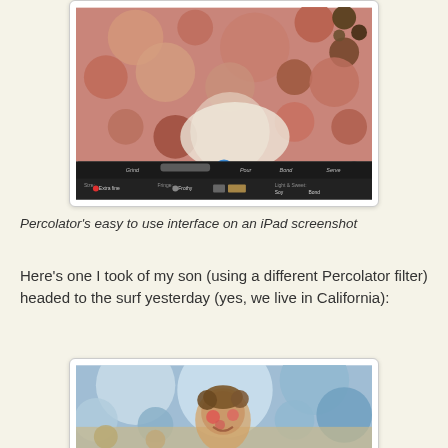[Figure (screenshot): iPad screenshot of Percolator app showing a photo processed with circular bubble filter in warm pink and brown tones, with app toolbar at bottom showing filter controls including Grind, Brew, Pour, Bond, Serve options and settings like Extra Fine, Frothy, Light & Sweet, Soy]
Percolator's easy to use interface on an iPad screenshot
Here's one I took of my son (using a different Percolator filter) headed to the surf yesterday (yes, we live in California):
[Figure (photo): Percolator-filtered photo of a young boy smiling, processed with blue and beige circular bubble filter, standing in front of what appears to be a surfboard, with blue sky background rendered in large circular bubbles]